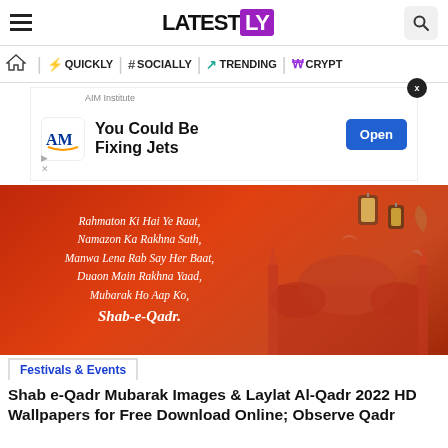LATESTLY
[Figure (screenshot): Advertisement banner: AIM Institute - You Could Be Fixing Jets, with Open button]
[Figure (illustration): Shab-e-Qadr decorative image with Urdu/English poetry text on red/orange background with mosque silhouette and lanterns. Text: Rahmaton Ki Hai Ye Raat, Namazon Ka Rakhna Sath, Manwa Lena Rab Say Her Baat, Duaon Main Rakhna Yaad, Mubarak Ho Aap Ko, Shab-e-Qadr.]
Festivals & Events
Shab e-Qadr Mubarak Images & Laylat Al-Qadr 2022 HD Wallpapers for Free Download Online; Observe Qadr